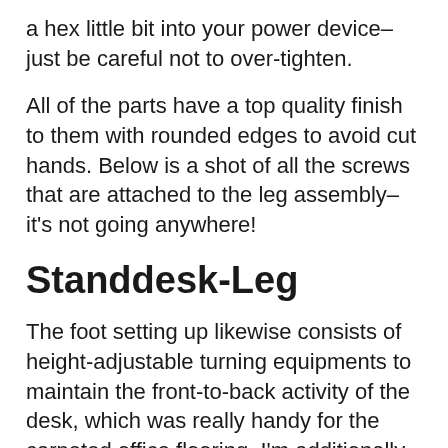a hex little bit into your power device– just be careful not to over-tighten.
All of the parts have a top quality finish to them with rounded edges to avoid cut hands. Below is a shot of all the screws that are attached to the leg assembly– it's not going anywhere!
Standdesk-Leg
The foot setting up likewise consists of height-adjustable turning equipments to maintain the front-to-back activity of the desk, which was really handy for the carpeted office flooring. I'm additionally utilizing a floor mat to protect the carpeting from chair wheel damage at mating